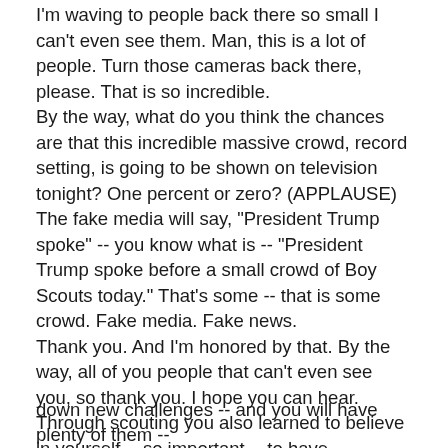I'm waving to people back there so small I can't even see them. Man, this is a lot of people. Turn those cameras back there, please. That is so incredible.
By the way, what do you think the chances are that this incredible massive crowd, record setting, is going to be shown on television tonight? One percent or zero? (APPLAUSE)
The fake media will say, "President Trump spoke" -- you know what is -- "President Trump spoke before a small crowd of Boy Scouts today." That's some -- that is some crowd. Fake media. Fake news.
Thank you. And I'm honored by that. By the way, all of you people that can't even see you, so thank you. I hope you can hear.
Through scouting you also learned to believe in yourself -- so important -- to have confidence in your ability and to take responsibility for your own life. When you face
down new challenges -- and you will have plenty of them --